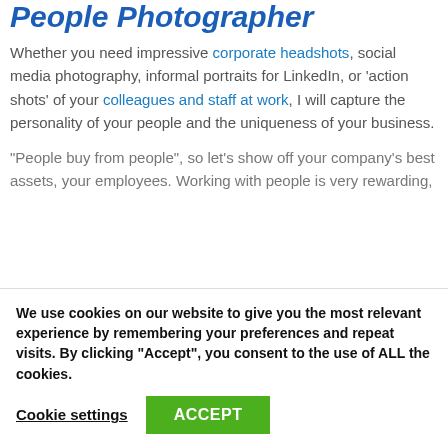People Photographer
Whether you need impressive corporate headshots, social media photography, informal portraits for LinkedIn, or 'action shots' of your colleagues and staff at work, I will capture the personality of your people and the uniqueness of your business.
“People buy from people”, so let’s show off your company’s best assets, your employees. Working with people is very rewarding,
We use cookies on our website to give you the most relevant experience by remembering your preferences and repeat visits. By clicking “Accept”, you consent to the use of ALL the cookies.
Cookie settings  ACCEPT